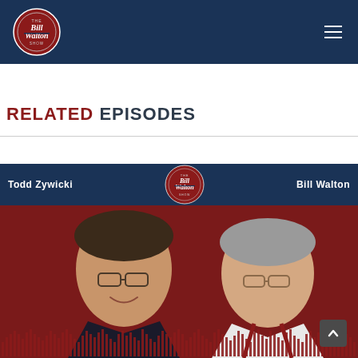The Bill Walton Show - navigation header
RELATED EPISODES
[Figure (photo): Podcast episode card for The Bill Walton Show featuring Todd Zywicki and Bill Walton on a dark red and navy background with audio waveform decoration at the bottom]